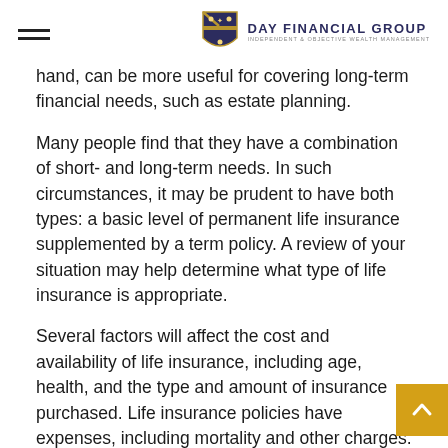DAY FINANCIAL GROUP — INDEPENDENT & OBJECTIVE WEALTH MANAGEMENT
hand, can be more useful for covering long-term financial needs, such as estate planning.
Many people find that they have a combination of short- and long-term needs. In such circumstances, it may be prudent to have both types: a basic level of permanent life insurance supplemented by a term policy. A review of your situation may help determine what type of life insurance is appropriate.
Several factors will affect the cost and availability of life insurance, including age, health, and the type and amount of insurance purchased. Life insurance policies have expenses, including mortality and other charges. If a policy is surrendered prematurely, the policyholder also may pay surrender charges and have income tax implications. You should consider determining whether you are insurable